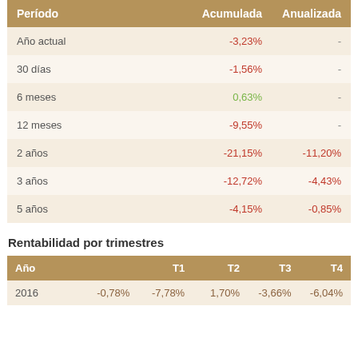| Período | Acumulada | Anualizada |
| --- | --- | --- |
| Año actual | -3,23% | - |
| 30 días | -1,56% | - |
| 6 meses | 0,63% | - |
| 12 meses | -9,55% | - |
| 2 años | -21,15% | -11,20% |
| 3 años | -12,72% | -4,43% |
| 5 años | -4,15% | -0,85% |
Rentabilidad por trimestres
| Año |  | T1 | T2 | T3 | T4 |
| --- | --- | --- | --- | --- | --- |
| 2016 | -0,78% | -7,78% | 1,70% | -3,66% | -6,04% |